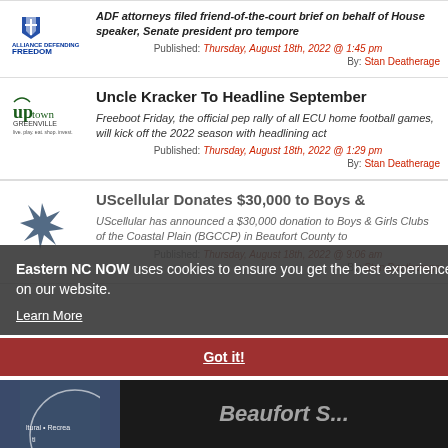ADF attorneys filed friend-of-the-court brief on behalf of House speaker, Senate president pro tempore
Published: Thursday, August 18th, 2022 @ 1:45 pm
By: Stan Deatherage
Uncle Kracker To Headline September
Freeboot Friday, the official pep rally of all ECU home football games, will kick off the 2022 season with headlining act
Published: Thursday, August 18th, 2022 @ 1:29 pm
By: Stan Deatherage
UScellular Donates $30,000 to Boys &
UScellular has announced a $30,000 donation to Boys & Girls Clubs of the Coastal Plain (BGCCP) in Beaufort County to
Published: Thursday, August 18th, 2022 @ 9:06 am
By: Stan Deatherage
Eastern NC NOW uses cookies to ensure you get the best experience on our website.
Learn More
Got it!